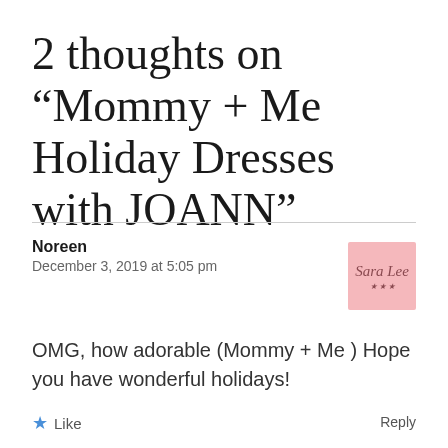2 thoughts on “Mommy + Me Holiday Dresses with JOANN”
Noreen
December 3, 2019 at 5:05 pm
OMG, how adorable (Mommy + Me ) Hope you have wonderful holidays!
★ Like
Reply